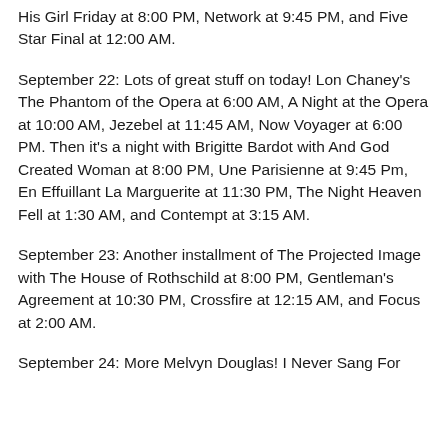His Girl Friday at 8:00 PM, Network at 9:45 PM, and Five Star Final at 12:00 AM.
September 22: Lots of great stuff on today! Lon Chaney's The Phantom of the Opera at 6:00 AM, A Night at the Opera at 10:00 AM, Jezebel at 11:45 AM, Now Voyager at 6:00 PM. Then it's a night with Brigitte Bardot with And God Created Woman at 8:00 PM, Une Parisienne at 9:45 Pm, En Effuillant La Marguerite at 11:30 PM, The Night Heaven Fell at 1:30 AM, and Contempt at 3:15 AM.
September 23: Another installment of The Projected Image with The House of Rothschild at 8:00 PM, Gentleman's Agreement at 10:30 PM, Crossfire at 12:15 AM, and Focus at 2:00 AM.
September 24: More Melvyn Douglas! I Never Sang For